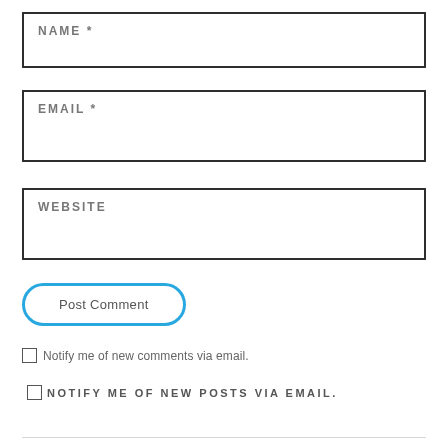NAME *
EMAIL *
WEBSITE
Post Comment
Notify me of new comments via email.
NOTIFY ME OF NEW POSTS VIA EMAIL.